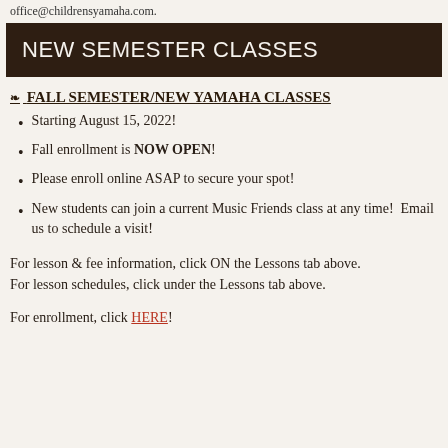office@childrensyamaha.com.
NEW SEMESTER CLASSES
❧ FALL SEMESTER/NEW YAMAHA CLASSES
Starting August 15, 2022!
Fall enrollment is NOW OPEN!
Please enroll online ASAP to secure your spot!
New students can join a current Music Friends class at any time!  Email us to schedule a visit!
For lesson & fee information, click ON the Lessons tab above.
For lesson schedules, click under the Lessons tab above.
For enrollment, click HERE!